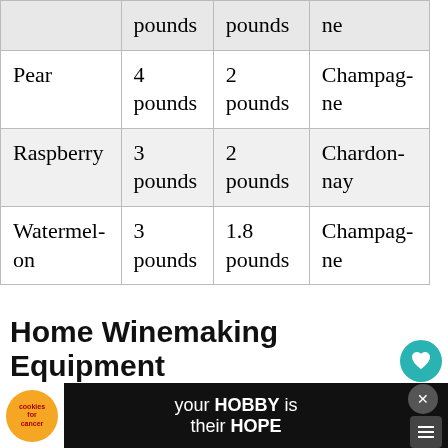|  | pounds | pounds | ne |
| --- | --- | --- | --- |
| Pear | 4 pounds | 2 pounds | Champagne |
| Raspberry | 3 pounds | 2 pounds | Chardonnay |
| Watermelon | 3 pounds | 1.8 pounds | Champagne |
Home Winemaking Equipment
[Figure (infographic): Advertisement banner at page bottom: cookies for cancer ad with 'your HOBBY is their HOPE' text and close/dismiss buttons.]